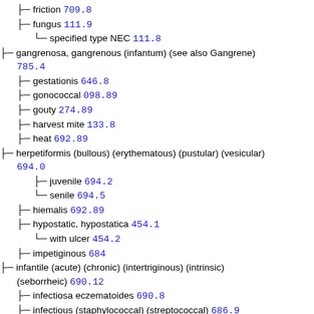friction 709.8
fungus 111.9
specified type NEC 111.8
gangrenosa, gangrenous (infantum) (see also Gangrene) 785.4
gestationis 646.8
gonococcal 098.89
gouty 274.89
harvest mite 133.8
heat 692.89
herpetiformis (bullous) (erythematous) (pustular) (vesicular) 694.0
juvenile 694.2
senile 694.5
hiemalis 692.89
hypostatic, hypostatica 454.1
with ulcer 454.2
impetiginous 684
infantile (acute) (chronic) (intertriginous) (intrinsic) (seborrheic) 690.12
infectiosa eczematoides 690.8
infectious (staphylococcal) (streptococcal) 686.9
eczematoid 699.8